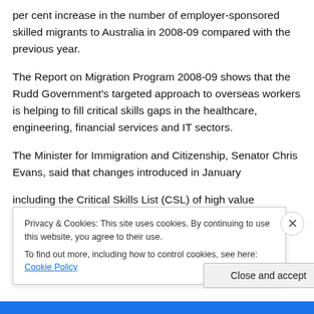per cent increase in the number of employer-sponsored skilled migrants to Australia in 2008-09 compared with the previous year.
The Report on Migration Program 2008-09 shows that the Rudd Government's targeted approach to overseas workers is helping to fill critical skills gaps in the healthcare, engineering, financial services and IT sectors.
The Minister for Immigration and Citizenship, Senator Chris Evans, said that changes introduced in January including the Critical Skills List (CSL) of high value
Privacy & Cookies: This site uses cookies. By continuing to use this website, you agree to their use.
To find out more, including how to control cookies, see here: Cookie Policy
Close and accept